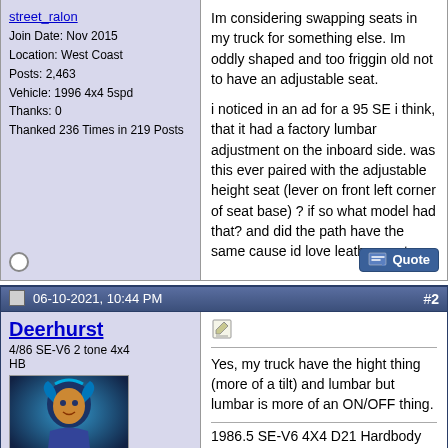Join Date: Nov 2015
Location: West Coast
Posts: 2,463
Vehicle: 1996 4x4 5spd
Thanks: 0
Thanked 236 Times in 219 Posts
Im considering swapping seats in my truck for something else. Im oddly shaped and too friggin old not to have an adjustable seat.
i noticed in an ad for a 95 SE i think, that it had a factory lumbar adjustment on the inboard side. was this ever paired with the adjustable height seat (lever on front left corner of seat base) ? if so what model had that? and did the path have the same cause id love leather seats.
06-10-2021, 10:44 PM  #2
Deerhurst
4/86 SE-V6 2 tone 4x4 HB
Yes, my truck have the hight thing (more of a tilt) and lumbar but lumbar is more of an ON/OFF thing.
1986.5 SE-V6 4X4 D21 Hardbody